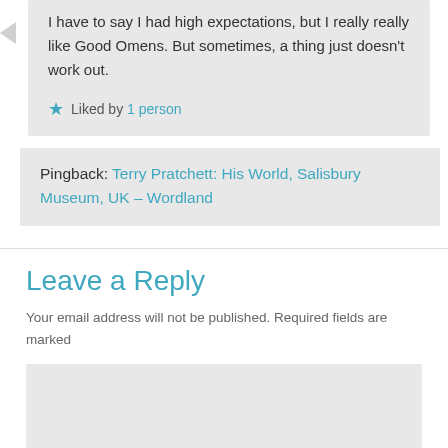I have to say I had high expectations, but I really really like Good Omens. But sometimes, a thing just doesn't work out.
★ Liked by 1 person
Pingback: Terry Pratchett: His World, Salisbury Museum, UK – Wordland
Leave a Reply
Your email address will not be published. Required fields are marked
[Figure (other): Empty comment text input area (grey background rectangle)]